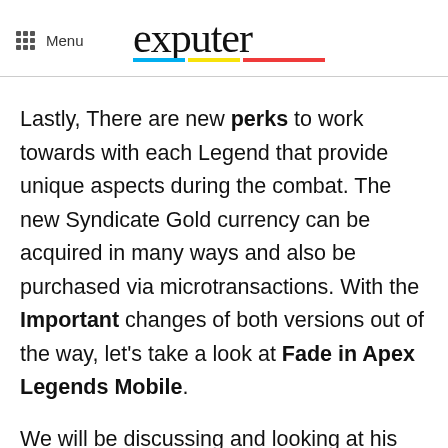Menu | exputer
Lastly, There are new perks to work towards with each Legend that provide unique aspects during the combat. The new Syndicate Gold currency can be acquired in many ways and also be purchased via microtransactions. With the Important changes of both versions out of the way, let's take a look at Fade in Apex Legends Mobile.
We will be discussing and looking at his abilities, commended playstyle, and the team comps to